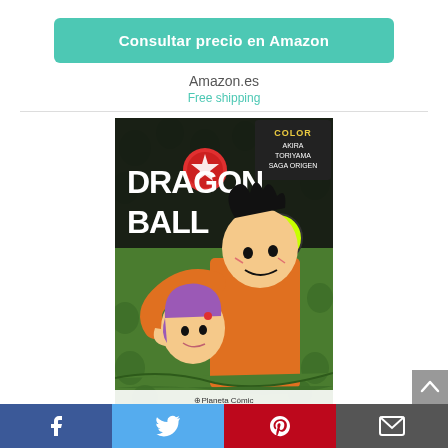[Figure (other): Teal/green rounded button with white bold text 'Consultar precio en Amazon']
Amazon.es
Free shipping
[Figure (photo): Dragon Ball Color Saga Origen volume 5 manga book cover by Akira Toriyama, published by Planeta Comic. Shows Goku and Bulma in a jungle setting with green background characters.]
[Figure (infographic): Social sharing bar at bottom with Facebook (blue), Twitter (light blue), Pinterest (red), and Email (grey) buttons, plus a grey back-to-top arrow button on the right.]